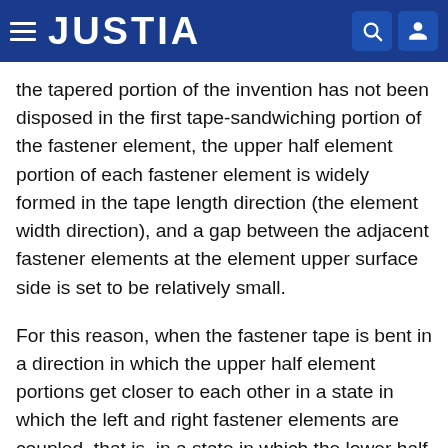JUSTIA
the tapered portion of the invention has not been disposed in the first tape-sandwiching portion of the fastener element, the upper half element portion of each fastener element is widely formed in the tape length direction (the element width direction), and a gap between the adjacent fastener elements at the element upper surface side is set to be relatively small.
For this reason, when the fastener tape is bent in a direction in which the upper half element portions get closer to each other in a state in which the left and right fastener elements are coupled, that is, in a state in which the lower half element portions of the left and right fastener elements are coupled, if the fastener tape is bent at up to a certain curvature, the front side edge portion and the rear side edge portion of the adjacent fastener elements come into contact with each other at